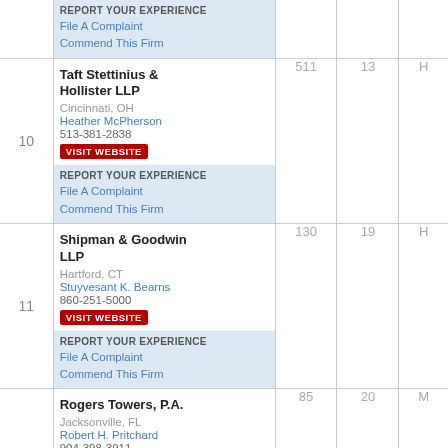File A Complaint
Commend This Firm
10 | Taft Stettinius & Hollister LLP | Cincinnati, OH | Heather McPherson | 513-381-2838 | 511 | 13 | H
11 | Shipman & Goodwin LLP | Hartford, CT | Stuyvesant K. Bearns | 860-251-5000 | 130 | 19 | H
12 | Rogers Towers, P.A. | Jacksonville, FL | Robert H. Pritchard | 904-398-3911 | 85 | 20 | M
Stradling Yocca Carlson & Rauth, A Professional Corporation | San Francisco, CA